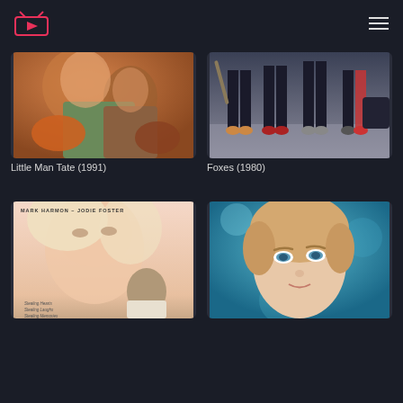Streaming / Movie app header with logo and hamburger menu
[Figure (photo): Movie poster thumbnail for Little Man Tate (1991) showing two people embracing, warm orange tones]
[Figure (photo): Movie thumbnail for Foxes (1980) showing legs of several people standing, dark moody scene]
Little Man Tate (1991)
Foxes (1980)
[Figure (photo): Movie poster for Stealing Hearts featuring Mark Harmon and Jodie Foster, soft illustrated portrait style]
[Figure (photo): Close-up photo of a blonde woman with blue eyes against blurred blue background]
MARK HARMON – JODIE FOSTER (movie poster text)